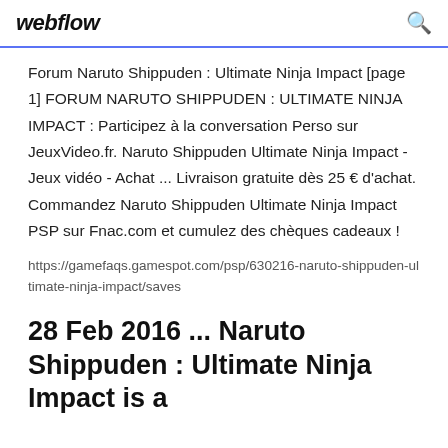webflow
Forum Naruto Shippuden : Ultimate Ninja Impact [page 1] FORUM NARUTO SHIPPUDEN : ULTIMATE NINJA IMPACT : Participez à la conversation Perso sur JeuxVideo.fr. Naruto Shippuden Ultimate Ninja Impact - Jeux vidéo - Achat ... Livraison gratuite dès 25 € d'achat. Commandez Naruto Shippuden Ultimate Ninja Impact PSP sur Fnac.com et cumulez des chèques cadeaux !
https://gamefaqs.gamespot.com/psp/630216-naruto-shippuden-ultimate-ninja-impact/saves
28 Feb 2016 ... Naruto Shippuden : Ultimate Ninja Impact is a